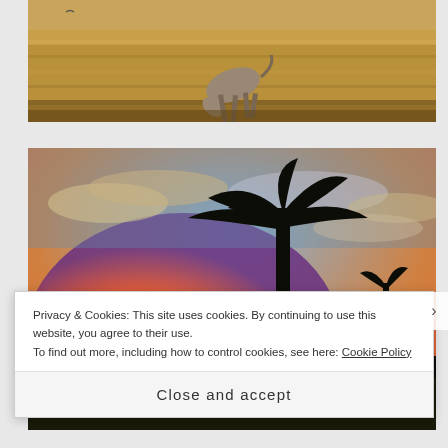[Figure (photo): A zebra or donkey grazing in dry golden grassland/savanna. The animal is bent down eating grass in the middle of a field of dried yellow-brown grass.]
[Figure (photo): A sunset landscape with a large palm tree silhouetted against a dramatic sky of orange, pink, yellow and blue. The sun is setting near the horizon with lens flare visible. Trees and buildings are silhouetted in the background.]
Privacy & Cookies: This site uses cookies. By continuing to use this website, you agree to their use.
To find out more, including how to control cookies, see here: Cookie Policy
Close and accept